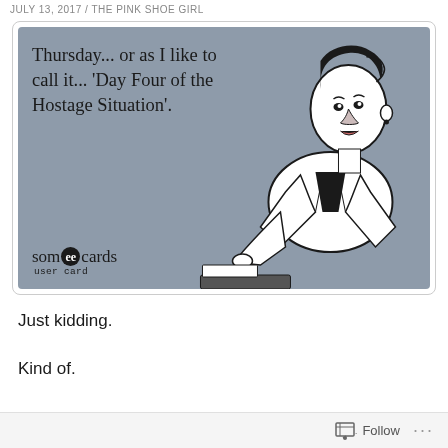JULY 13, 2017 / THE PINK SHOE GIRL
[Figure (illustration): Someecards user card with gray background. Text reads: 'Thursday... or as I like to call it... 'Day Four of the Hostage Situation'.' with a vintage illustration of a woman in a blazer writing at a desk. Someecards user card logo in bottom left.]
Just kidding.
Kind of.